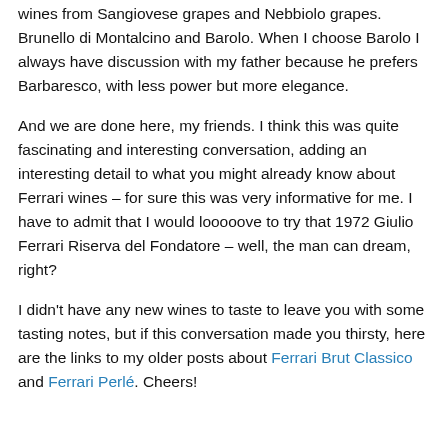wines from Sangiovese grapes and Nebbiolo grapes. Brunello di Montalcino and Barolo. When I choose Barolo I always have discussion with my father because he prefers Barbaresco, with less power but more elegance.
And we are done here, my friends. I think this was quite fascinating and interesting conversation, adding an interesting detail to what you might already know about Ferrari wines – for sure this was very informative for me. I have to admit that I would looooove to try that 1972 Giulio Ferrari Riserva del Fondatore – well, the man can dream, right?
I didn't have any new wines to taste to leave you with some tasting notes, but if this conversation made you thirsty, here are the links to my older posts about Ferrari Brut Classico and Ferrari Perlé. Cheers!